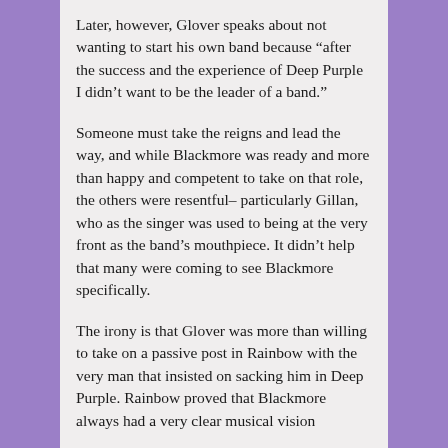Later, however, Glover speaks about not wanting to start his own band because “after the success and the experience of Deep Purple I didn’t want to be the leader of a band.”
Someone must take the reigns and lead the way, and while Blackmore was ready and more than happy and competent to take on that role, the others were resentful– particularly Gillan, who as the singer was used to being at the very front as the band’s mouthpiece. It didn’t help that many were coming to see Blackmore specifically.
The irony is that Glover was more than willing to take on a passive post in Rainbow with the very man that insisted on sacking him in Deep Purple. Rainbow proved that Blackmore always had a very clear musical vision...